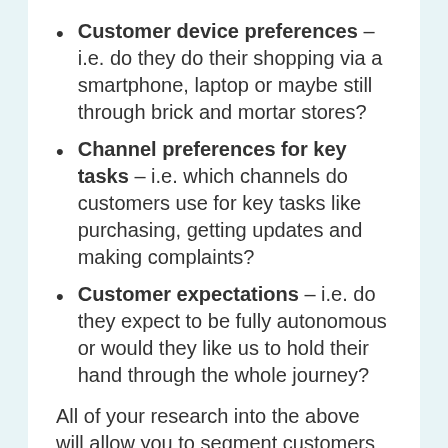Customer device preferences – i.e. do they do their shopping via a smartphone, laptop or maybe still through brick and mortar stores?
Channel preferences for key tasks – i.e. which channels do customers use for key tasks like purchasing, getting updates and making complaints?
Customer expectations – i.e. do they expect to be fully autonomous or would they like us to hold their hand through the whole journey?
All of your research into the above will allow you to segment customers into digital profiles, helping you to build a